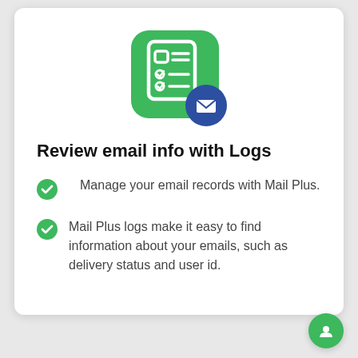[Figure (illustration): App icon with green rounded square background showing a checklist/form icon, with a dark blue circle badge containing a white envelope/mail icon overlapping the bottom-right corner.]
Review email info with Logs
Manage your email records with Mail Plus.
Mail Plus logs make it easy to find information about your emails, such as delivery status and user id.